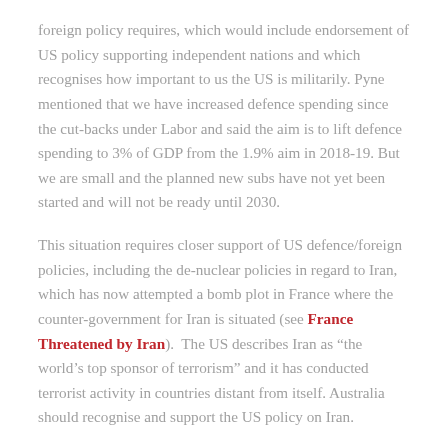foreign policy requires, which would include endorsement of US policy supporting independent nations and which recognises how important to us the US is militarily. Pyne mentioned that we have increased defence spending since the cut-backs under Labor and said the aim is to lift defence spending to 3% of GDP from the 1.9% aim in 2018-19. But we are small and the planned new subs have not yet been started and will not be ready until 2030.
This situation requires closer support of US defence/foreign policies, including the de-nuclear policies in regard to Iran, which has now attempted a bomb plot in France where the counter-government for Iran is situated (see France Threatened by Iran).  The US describes Iran as “the world’s top sponsor of terrorism” and it has conducted terrorist activity in countries distant from itself. Australia should recognise and support the US policy on Iran.